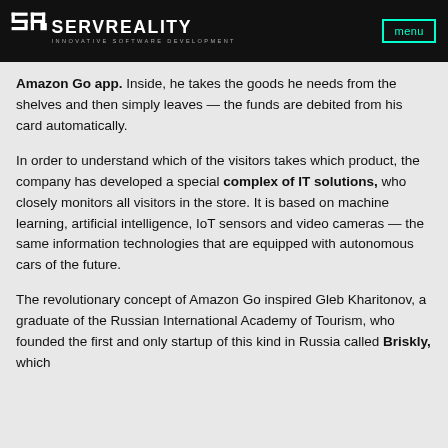SERVREALITY INNOVATIVE SOFTWARE DEVELOPMENT | menu
Amazon Go app. Inside, he takes the goods he needs from the shelves and then simply leaves — the funds are debited from his card automatically.
In order to understand which of the visitors takes which product, the company has developed a special complex of IT solutions, who closely monitors all visitors in the store. It is based on machine learning, artificial intelligence, IoT sensors and video cameras — the same information technologies that are equipped with autonomous cars of the future.
The revolutionary concept of Amazon Go inspired Gleb Kharitonov, a graduate of the Russian International Academy of Tourism, who founded the first and only startup of this kind in Russia called Briskly, which